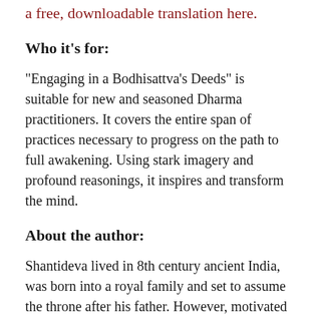a free, downloadable translation here.
Who it's for:
“Engaging in a Bodhisattva’s Deeds” is suitable for new and seasoned Dharma practitioners. It covers the entire span of practices necessary to progress on the path to full awakening. Using stark imagery and profound reasonings, it inspires and transform the mind.
About the author:
Shantideva lived in 8th century ancient India, was born into a royal family and set to assume the throne after his father. However, motivated to be of greatest benefit to all sentient beings, Shantideva left the royal life and entered monastic life at the renowned Nalanda